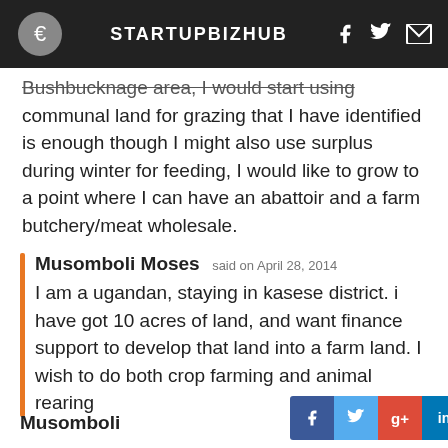STARTUPBIZHUB
Bushbucknage area, I would start using communal land for grazing that I have identified is enough though I might also use surplus during winter for feeding, I would like to grow to a point where I can have an abattoir and a farm butchery/meat wholesale.
Musomboli Moses said on April 28, 2014
I am a ugandan, staying in kasese district. i have got 10 acres of land, and want finance support to develop that land into a farm land. I wish to do both crop farming and animal rearing
Musomboli